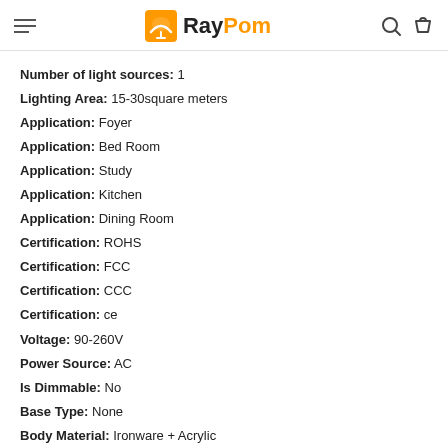RayPom
Number of light sources: 1
Lighting Area: 15-30square meters
Application: Foyer
Application: Bed Room
Application: Study
Application: Kitchen
Application: Dining Room
Certification: ROHS
Certification: FCC
Certification: CCC
Certification: ce
Voltage: 90-260V
Power Source: AC
Is Dimmable: No
Base Type: None
Body Material: Ironware + Acrylic
Switch Type: Knob switch